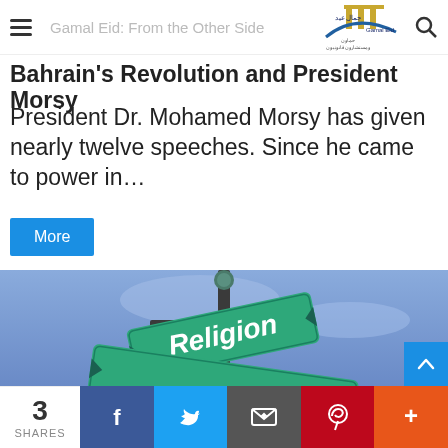Gamal Eid: From the Other Side
Bahrain's Revolution and President Morsy
President Dr. Mohamed Morsy has given nearly twelve speeches. Since he came to power in…
More
[Figure (photo): Street sign reading 'Religion' against a blue sky background]
3 SHARES | Facebook | Twitter | Email | Pinterest | More